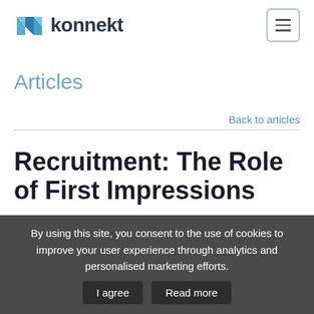konnekt
Articles
Back to articles
Recruitment: The Role of First Impressions
By using this site, you consent to the use of cookies to improve your user experience through analytics and personalised marketing efforts.